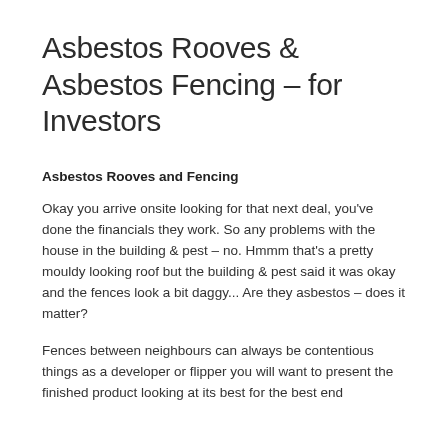Asbestos Rooves & Asbestos Fencing – for Investors
Asbestos Rooves and Fencing
Okay you arrive onsite looking for that next deal, you've done the financials they work. So any problems with the house in the building & pest – no. Hmmm that's a pretty mouldy looking roof but the building & pest said it was okay and the fences look a bit daggy... Are they asbestos – does it matter?
Fences between neighbours can always be contentious things as a developer or flipper you will want to present the finished product looking at its best for the best end